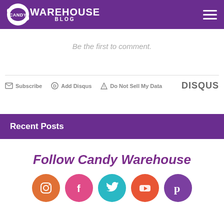Candy Warehouse Blog
Be the first to comment.
Subscribe  Add Disqus  Do Not Sell My Data  DISQUS
Recent Posts
Follow Candy Warehouse
[Figure (infographic): Social media icons: Instagram (orange), Facebook (pink), Twitter (teal), YouTube (red-orange), Pinterest (purple)]